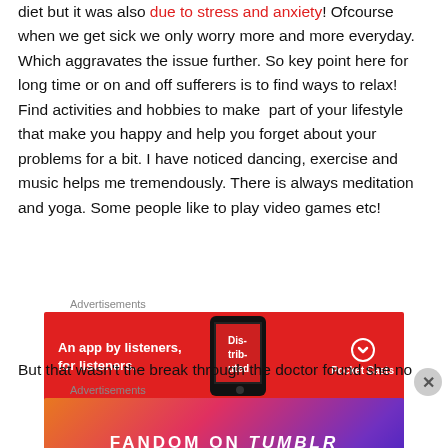diet but it was also due to stress and anxiety! Ofcourse when we get sick we only worry more and more everyday. Which aggravates the issue further. So key point here for long time or on and off sufferers is to find ways to relax! Find activities and hobbies to make part of your lifestyle that make you happy and help you forget about your problems for a bit. I have noticed dancing, exercise and music helps me tremendously. There is always meditation and yoga. Some people like to play video games etc!
[Figure (other): Advertisement banner for Pocket Casts app: red background with text 'An app by listeners, for listeners.' and Pocket Casts logo]
But that wasn't the break through the doctor found she no
[Figure (other): Advertisement banner for Fandom on Tumblr: colorful gradient background (orange to purple) with text 'FANDOM ON tumblr']